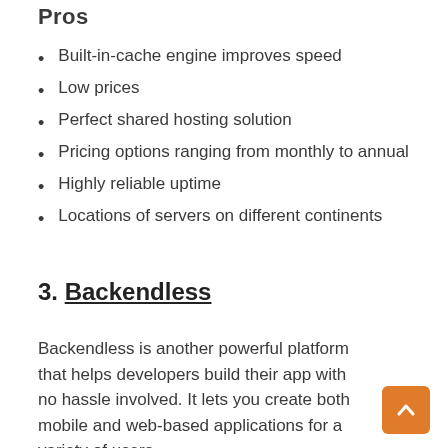Pros
Built-in-cache engine improves speed
Low prices
Perfect shared hosting solution
Pricing options ranging from monthly to annual
Highly reliable uptime
Locations of servers on different continents
3. Backendless
Backendless is another powerful platform that helps developers build their app with no hassle involved. It lets you create both mobile and web-based applications for a variety of users.